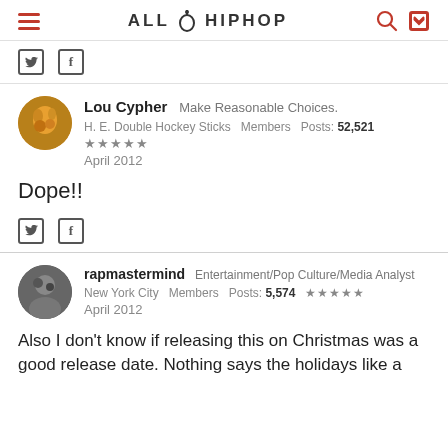ALL HIP HOP
Twitter Facebook social icons
Lou Cypher  Make Reasonable Choices.
H. E. Double Hockey Sticks  Members  Posts: 52,521
★★★★★
April 2012
Dope!!
Twitter Facebook social icons
rapmastermind  Entertainment/Pop Culture/Media Analyst
New York City  Members  Posts: 5,574  ★★★★★
April 2012
Also I don't know if releasing this on Christmas was a good release date. Nothing says the holidays like a